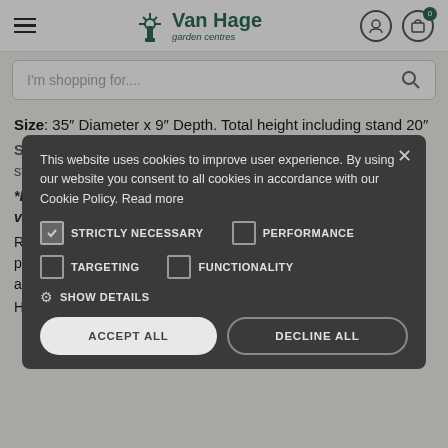Van Hage garden centres
I'm shopping for....
Size: 35" Diameter x 9" Depth. Total height including stand 20"
Size: 90cms Diameter x 23cms Depth. Total height including stand 50cms
*Please note that this firepit is made of natural materials, so variances in colour and finish are to be expected.
This website uses cookies to improve user experience. By using our website you consent to all cookies in accordance with our Cookie Policy. Read more
STRICTLY NECESSARY
PERFORMANCE
TARGETING
FUNCTIONALITY
SHOW DETAILS
ACCEPT ALL
DECLINE ALL
Rust is a natural process and will add a unique patina to your fire pit. Firepits UK don't treat the metal used to make their fire pits as any treatment would simply burn off.
However, the steel is at least 3mm thick so can withstand